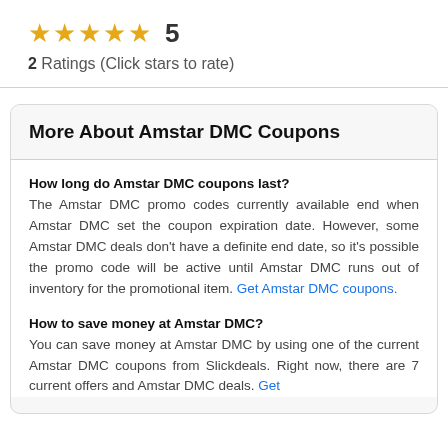★★★★★ 5
2 Ratings (Click stars to rate)
More About Amstar DMC Coupons
How long do Amstar DMC coupons last?
The Amstar DMC promo codes currently available end when Amstar DMC set the coupon expiration date. However, some Amstar DMC deals don't have a definite end date, so it's possible the promo code will be active until Amstar DMC runs out of inventory for the promotional item. Get Amstar DMC coupons.
How to save money at Amstar DMC?
You can save money at Amstar DMC by using one of the current Amstar DMC coupons from Slickdeals. Right now, there are 7 current offers and Amstar DMC deals. Get